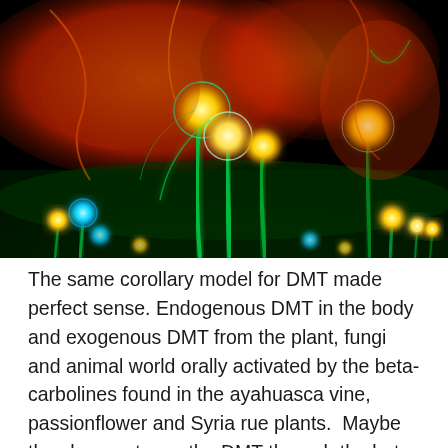[Figure (photo): Psychedelic/fractal glowing mushroom-like organisms on a dark background, with neon orange, green, yellow, and blue colorful luminescent forms resembling microscopic fungi or plant structures rendered in a digital art style.]
The same corollary model for DMT made perfect sense. Endogenous DMT in the body and exogenous DMT from the plant, fungi and animal world orally activated by the beta-carbolines found in the ayahuasca vine, passionflower and Syria rue plants.  Maybe the shaman tunes the DMT through the beta-carboline interface